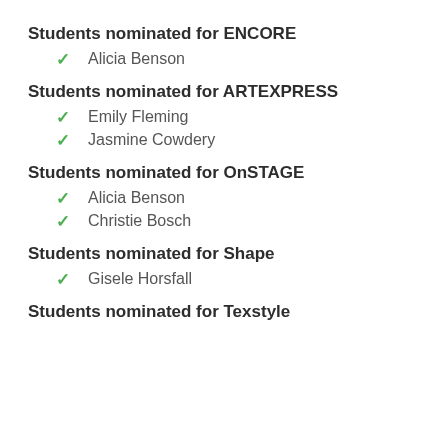Students nominated for ENCORE
Alicia Benson
Students nominated for ARTEXPRESS
Emily Fleming
Jasmine Cowdery
Students nominated for OnSTAGE
Alicia Benson
Christie Bosch
Students nominated for Shape
Gisele Horsfall
Students nominated for Texstyle